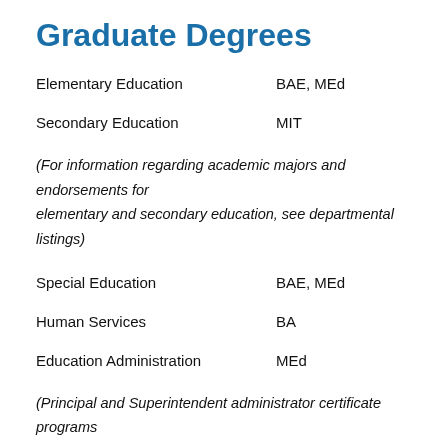Graduate Degrees
Elementary Education    BAE, MEd
Secondary Education    MIT
(For information regarding academic majors and endorsements for elementary and secondary education, see departmental listings)
Special Education    BAE, MEd
Human Services    BA
Education Administration    MEd
(Principal and Superintendent administrator certificate programs